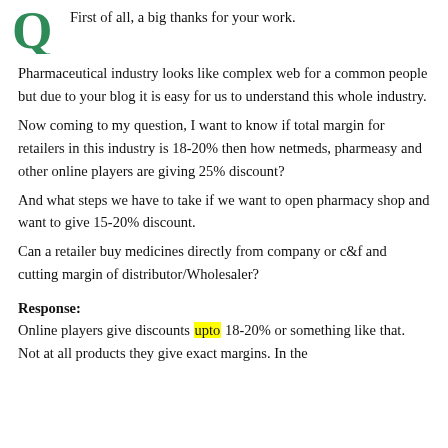First of all, a big thanks for your work.
Pharmaceutical industry looks like complex web for a common people but due to your blog it is easy for us to understand this whole industry.
Now coming to my question, I want to know if total margin for retailers in this industry is 18-20% then how netmeds, pharmeasy and other online players are giving 25% discount?
And what steps we have to take if we want to open pharmacy shop and want to give 15-20% discount.
Can a retailer buy medicines directly from company or c&f and cutting margin of distributor/Wholesaler?
Response:
Online players give discounts upto 18-20% or something like that. Not at all products they give exact margins. In the